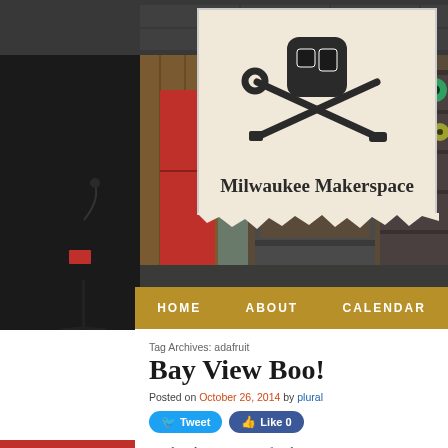[Figure (screenshot): Milwaukee Makerspace website screenshot showing logo, navigation bar with HOME, ABOUT, CALENDAR links, background photo of makerspace interior, and blog post area]
Bay View Boo!
Tag Archives: adafruit
Posted on October 26, 2014 by plural
I've lived in Bay View for the past 9 yea...